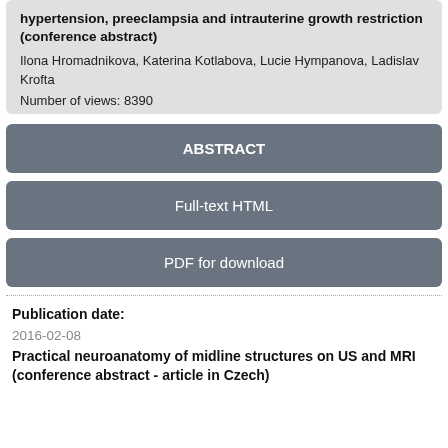hypertension, preeclampsia and intrauterine growth restriction (conference abstract)
Ilona Hromadnikova, Katerina Kotlabova, Lucie Hympanova, Ladislav Krofta
Number of views: 8390
ABSTRACT
Full-text HTML
PDF for download
Publication date:
2016-02-08
Practical neuroanatomy of midline structures on US and MRI (conference abstract - article in Czech)